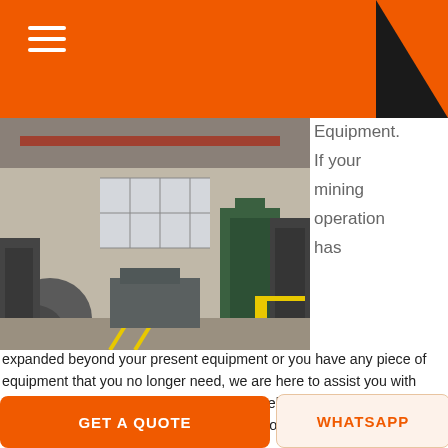[Figure (photo): Interior of a large industrial factory/warehouse with overhead cranes, machinery, and heavy metal equipment on a concrete floor]
Equipment. If your mining operation has expanded beyond your present equipment or you have any piece of equipment that you no longer need, we are here to assist you with finding a buyer. Be sure to provide all the relevant information to a buyer like the age of the equipment, the loion and the asking price.
GET PRICE
Surface Mining
[Figure (photo): Gray surface mining equipment partial view]
GET A QUOTE
WHATSAPP